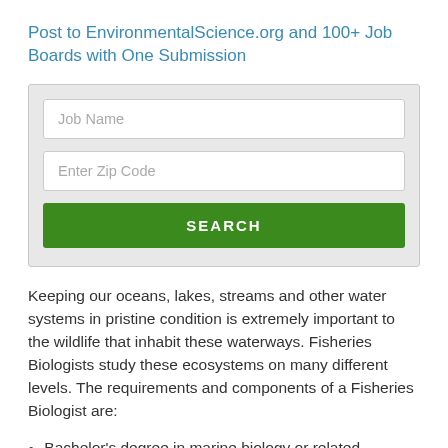Post to EnvironmentalScience.org and 100+ Job Boards with One Submission
[Figure (screenshot): A search form with a 'Job Name' text input, an 'Enter Zip Code' text input, and a green 'SEARCH' button, all inside a light gray bordered box.]
Keeping our oceans, lakes, streams and other water systems in pristine condition is extremely important to the wildlife that inhabit these waterways. Fisheries Biologists study these ecosystems on many different levels. The requirements and components of a Fisheries Biologist are:
Bachelor's degree in marine biology or related